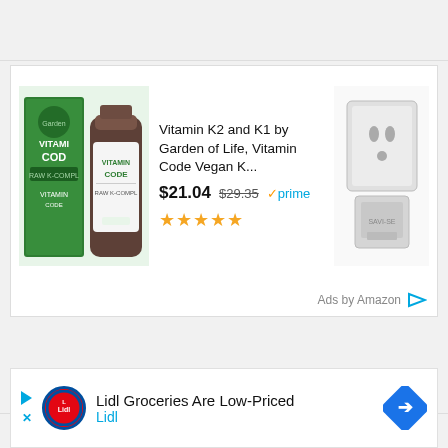[Figure (screenshot): Amazon advertising card showing Vitamin K2 and K1 by Garden of Life supplement product with green packaging, price $21.04 (was $29.35), Prime eligible, 5 star rating. Also shows a white electrical outlet/power adapter product on the right.]
Vitamin K2 and K1 by Garden of Life, Vitamin Code Vegan K...
$21.04  $29.35  ✓prime
★★★★★
Ads by Amazon
[Figure (screenshot): Lidl Groceries Are Low-Priced advertisement banner with Lidl circular logo and blue diamond arrow button.]
Lidl Groceries Are Low-Priced
Lidl